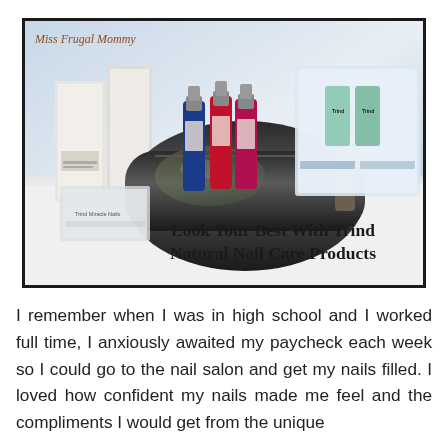[Figure (photo): Photo of Trind Natural Nail Care Products including nail polish bottles in red, blue, and pink, a black cosmetic bag, product boxes, and nail care sets arranged on a white surface. Watermark reads 'Miss Frugal Mommy'. Text overlay reads 'Look Your Best With Trind Natural Nail Care Products'.]
I remember when I was in high school and I worked full time, I anxiously awaited my paycheck each week so I could go to the nail salon and get my nails filled. I loved how confident my nails made me feel and the compliments I would get from the unique